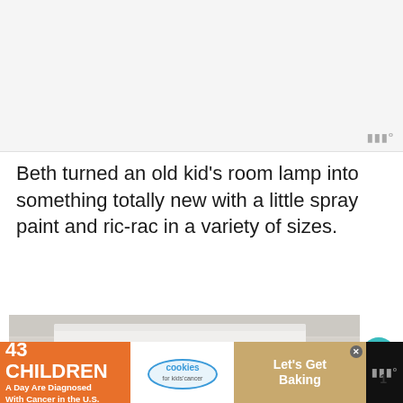[Figure (other): Advertisement banner area at top of page (light gray placeholder)]
Beth turned an old kid's room lamp into something totally new with a little spray paint and ric-rac in a variety of sizes.
[Figure (photo): Photo of a lamp with ric-rac trim in black zigzag pattern on white shade, rustic white-painted wood background]
[Figure (other): Advertisement banner at bottom: '43 CHILDREN A Day Are Diagnosed With Cancer in the U.S.' with cookies for kids' cancer logo and 'Let's Get Baking' text]